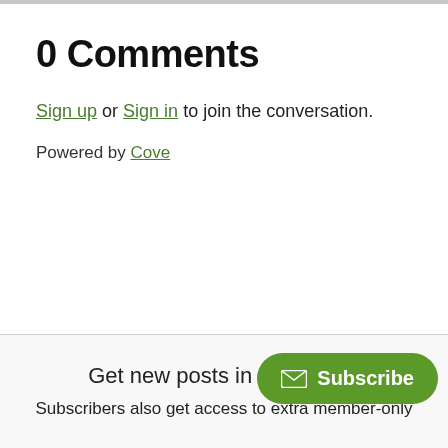0 Comments
Sign up or Sign in to join the conversation.
Powered by Cove
Get new posts in you
Subscribers also get access to extra member-only